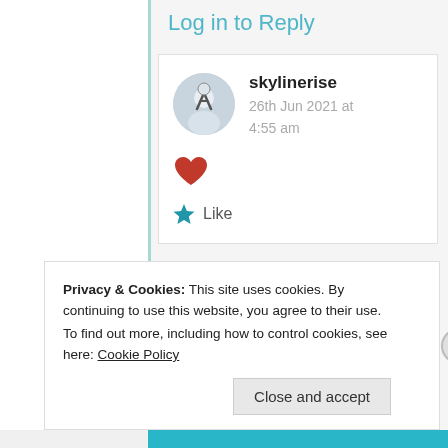Log in to Reply
[Figure (photo): Circular avatar image of user skylinerise, showing a black and white figure on a light background]
skylinerise
26th Jun 2021 at 4:55 am
[Figure (illustration): Red heart icon (like/favorite button)]
★ Like
Privacy & Cookies: This site uses cookies. By continuing to use this website, you agree to their use.
To find out more, including how to control cookies, see here: Cookie Policy
Close and accept